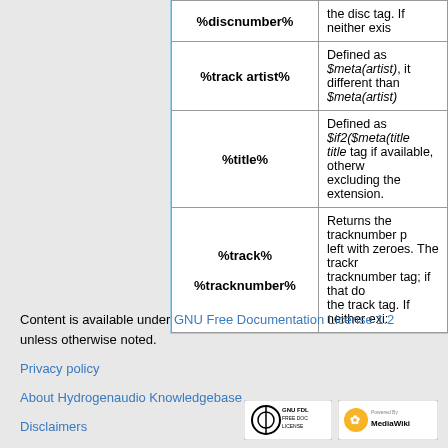| Variable | Description |
| --- | --- |
| %discnumber% | the disc tag. If neither exis |
| %track artist% | Defined as $meta(artist), it different than $meta(artist) |
| %title% | Defined as $if2($meta(title title tag if available, otherw excluding the extension. |
| %track% / %tracknumber% | Returns the tracknumber p left with zeroes. The trackr tracknumber tag; if that do the track tag. If neither exi: |
Content is available under GNU Free Documentation License 1.2 unless otherwise noted.
Privacy policy
About Hydrogenaudio Knowledgebase
Disclaimers
[Figure (logo): GNU FDL Free Doc License badge and MediaWiki Powered By badge]